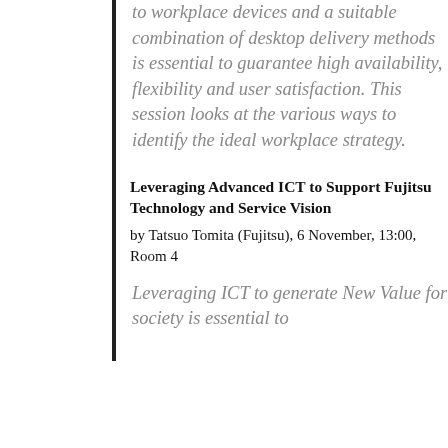to workplace devices and a suitable combination of desktop delivery methods is essential to guarantee high availability, flexibility and user satisfaction. This session looks at the various ways to identify the ideal workplace strategy.
Leveraging Advanced ICT to Support Fujitsu Technology and Service Vision
by Tatsuo Tomita (Fujitsu), 6 November, 13:00, Room 4
Leveraging ICT to generate New Value for society is essential to